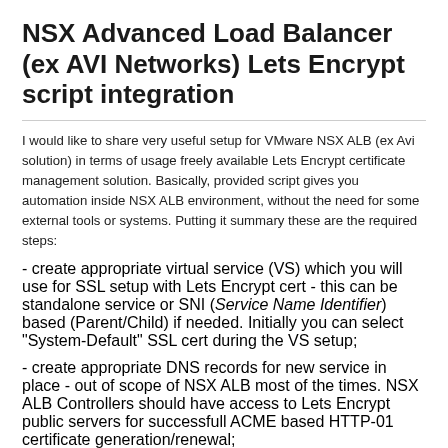NSX Advanced Load Balancer (ex AVI Networks) Lets Encrypt script integration
I would like to share very useful setup for VMware NSX ALB (ex Avi solution) in terms of usage freely available Lets Encrypt certificate management solution. Basically, provided script gives you automation inside NSX ALB environment, without the need for some external tools or systems. Putting it summary these are the required steps:
- create appropriate virtual service (VS) which you will use for SSL setup with Lets Encrypt cert - this can be standalone service or SNI (Service Name Identifier) based (Parent/Child) if needed. Initially you can select "System-Default" SSL cert during the VS setup;
- create appropriate DNS records for new service in place - out of scope of NSX ALB most of the times. NSX ALB Controllers should have access to Lets Encrypt public servers for successfull ACME based HTTP-01 certificate generation/renewal;
- Download required script from HERE
- Follow rest of required configuration steps on this NSX-ALB-Lets-Encrypt-SETUP - in terms of user creation/script adding/CSR...
- I would like to give you an special attention in case you have split